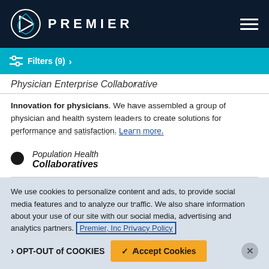PREMIER
Filters (9) >
Physician Enterprise Collaborative
Innovation for physicians. We have assembled a group of physician and health system leaders to create solutions for performance and satisfaction. Learn more.
Population Health Collaboratives
Bundled Payment Collaborative
We use cookies to personalize content and ads, to provide social media features and to analyze our traffic. We also share information about your use of our site with our social media, advertising and analytics partners. Premier, Inc Privacy Policy
OPT-OUT of COOKIES | Accept Cookies